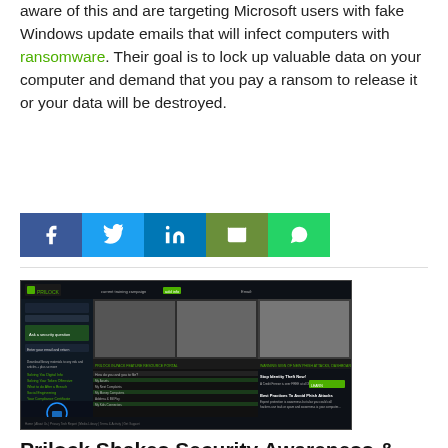aware of this and are targeting Microsoft users with fake Windows update emails that will infect computers with ransomware. Their goal is to lock up valuable data on your computer and demand that you pay a ransom to release it or your data will be destroyed.
Continue Reading...
[Figure (infographic): Social sharing buttons: Facebook (blue), Twitter (light blue), LinkedIn (blue), Email (dark green), WhatsApp (green)]
[Figure (screenshot): Screenshot of the Prilock website showing security awareness and phishing testing dashboard with navigation panels, images of office workers, and various menu items.]
Prilock Shakes Security Awareness & Phish Testing Industry – Flat Pricing $3.99 per User